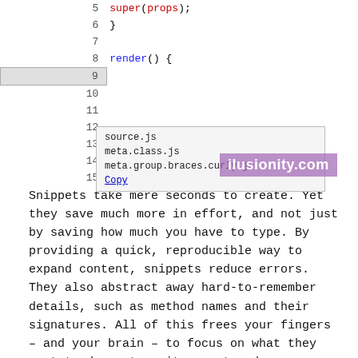[Figure (screenshot): Code editor screenshot showing lines 5-15 of JavaScript code with an autocomplete dropdown popup listing source.js, meta.class.js, meta.group.braces.curly.js, and a Copy link. A watermark 'ilusionity.com' overlays the dropdown.]
Snippets take mere seconds to create. Yet they save much more in effort, and not just by saving how much you have to type. By providing a quick, reproducible way to expand content, snippets reduce errors. They also abstract away hard-to-remember details, such as method names and their signatures. All of this frees your fingers – and your brain – to focus on what they want to do most: write great code.